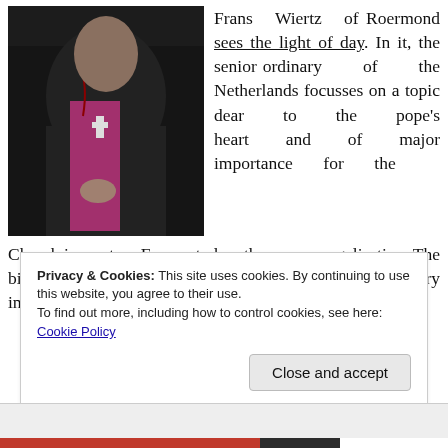[Figure (photo): A bishop or Catholic clergyman in black and magenta vestments, wearing a pectoral cross, standing against a dark background.]
Frans Wiertz of Roermond sees the light of day. In it, the senior ordinary of the Netherlands focusses on a topic dear to the pope's heart and of major importance for the Church in western Europe today: the new evangelisation. The bishop considers an active role of the faithful in society very important in that regard:
Privacy & Cookies: This site uses cookies. By continuing to use this website, you agree to their use.
To find out more, including how to control cookies, see here: Cookie Policy
Close and accept